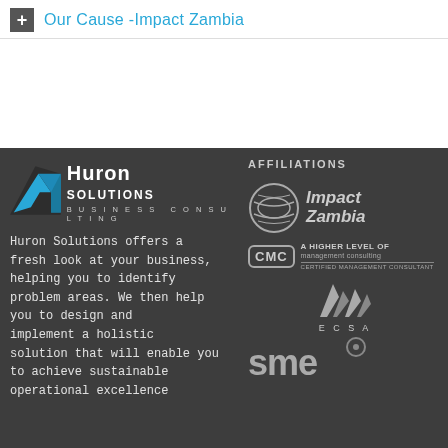Our Cause -Impact Zambia
[Figure (logo): Huron Solutions Business Consulting logo with blue mountain graphic and white text]
Huron Solutions offers a fresh look at your business, helping you to identify problem areas. We then help you to design and implement a holistic solution that will enable you to achieve sustainable operational excellence
AFFILIATIONS
[Figure (logo): Impact Zambia logo - circular globe/wave emblem with text Impact Zambia]
[Figure (logo): CMC - A Higher Level of management consulting - Certified Management Consultant logo]
[Figure (logo): ECSA logo with stylized engineering marks]
[Figure (logo): SME logo in grey/white text]